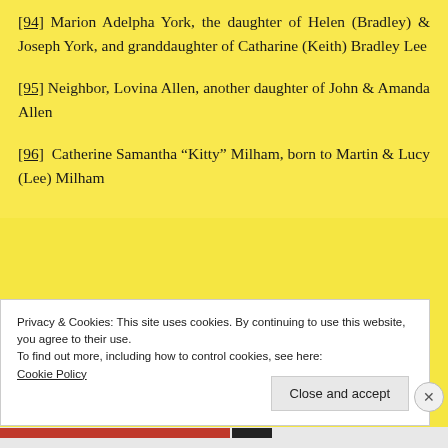[94] Marion Adelpha York, the daughter of Helen (Bradley) & Joseph York, and granddaughter of Catharine (Keith) Bradley Lee
[95] Neighbor, Lovina Allen, another daughter of John & Amanda Allen
[96] Catherine Samantha “Kitty” Milham, born to Martin & Lucy (Lee) Milham
Privacy & Cookies: This site uses cookies. By continuing to use this website, you agree to their use. To find out more, including how to control cookies, see here: Cookie Policy